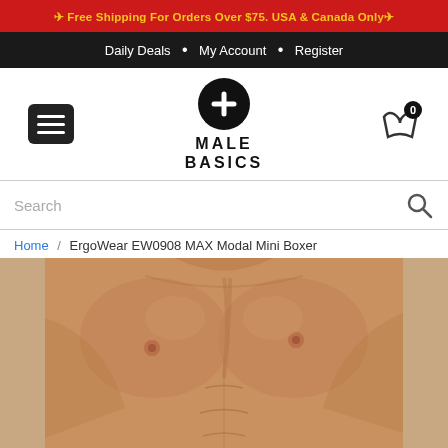✈ Free Shipping For Orders Over $75. USA & Canada Only✈
Daily Deals • My Account • Register
[Figure (logo): MaleBasics logo: black circle with white plus sign above bold text MALE BASICS]
Search
Home / ErgoWear EW0908 MAX Modal Mini Boxer
[Figure (photo): Close-up photo of a male model's torso showing chest and abdominal muscles against a neutral background]